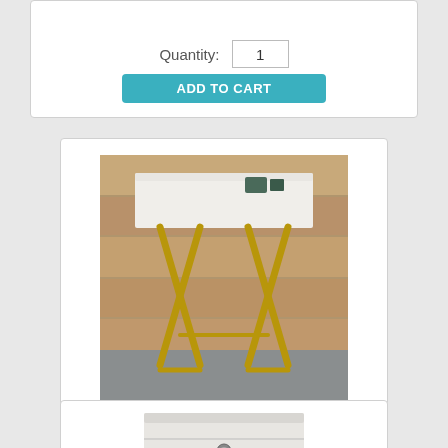[Figure (photo): Top card partial view showing quantity field with value 1 and ADD TO CART button]
[Figure (photo): Product photo of OT58-White Tray Table with Gold legs - a white tray top on gold X-frame cross legs, on a wooden deck background]
OT58-White Tray Table w/Gold legs
Price: $20.00
Quantity: 1
ADD TO CART
[Figure (photo): Partial view of bottom product card showing a white/silver nightstand or small cabinet with drawer]